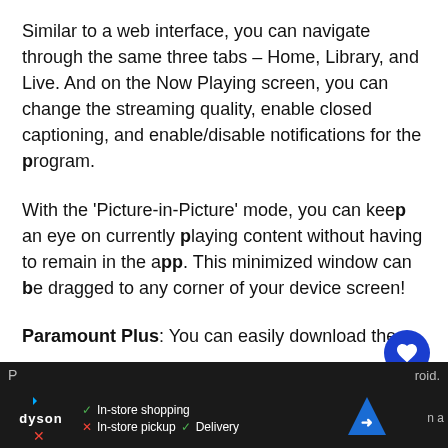Similar to a web interface, you can navigate through the same three tabs – Home, Library, and Live. And on the Now Playing screen, you can change the streaming quality, enable closed captioning, and enable/disable notifications for the program.
With the 'Picture-in-Picture' mode, you can keep an eye on currently playing content without having to remain in the app. This minimized window can be dragged to any corner of your device screen!
Paramount Plus: You can easily download the P... d... n a
[Figure (infographic): Advertisement bar at the bottom of the screen showing Dyson logo with in-store shopping, in-store pickup, delivery icons, a navigation arrow icon, and partially visible text on the right.]